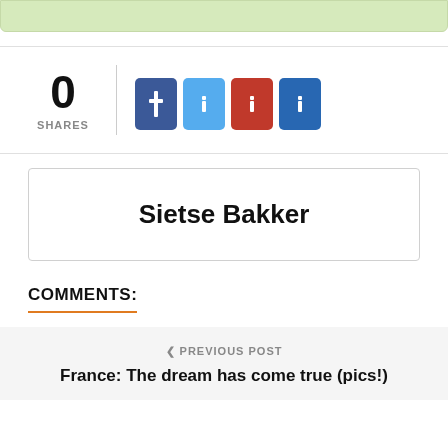[Figure (other): Top green banner/map area]
0 SHARES
[Figure (other): Social share buttons: Facebook, Twitter, Google+, LinkedIn]
Sietse Bakker
COMMENTS:
❮ PREVIOUS POST
France: The dream has come true (pics!)